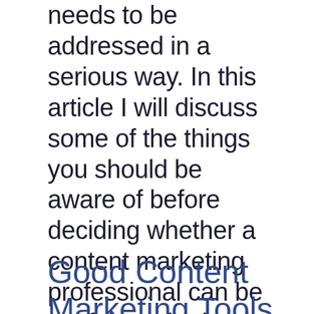needs to be addressed in a serious way. In this article I will discuss some of the things you should be aware of before deciding whether a content marketing professional can be useful or whether it is better using internal staff in the firm at the local branch office in Luxembourg.
Good Content Marketing Tools